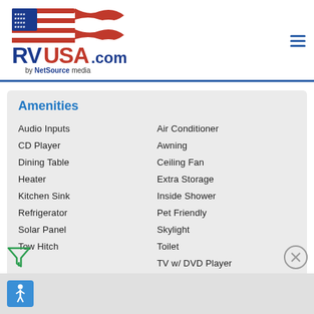[Figure (logo): RVUSA.com by NetSource media logo with American flag graphic]
Amenities
Audio Inputs
CD Player
Dining Table
Heater
Kitchen Sink
Refrigerator
Solar Panel
Tow Hitch
Air Conditioner
Awning
Ceiling Fan
Extra Storage
Inside Shower
Pet Friendly
Skylight
Toilet
TV w/ DVD Player